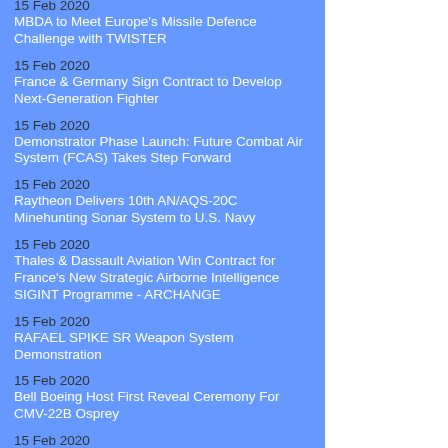15 Feb 2020
MBDA to Meet Europe's Missile Defence Challenge with TWISTER
15 Feb 2020
France & Germany Sign Contract to Develop Next-Generation Fighter
15 Feb 2020
Demonstrator Phase Launch: Future Combat Air System (FCAS) Takes Step Forward
15 Feb 2020
Raytheon Delivers 10th AN/AQS-20C Minehunting Sonar System to U.S. Navy
15 Feb 2020
Thales & Dassault Aviation Win Contract for France's New Strategic Airborne Intelligence SIGINT Programme - ARCHANGE
15 Feb 2020
RAFAEL SPIKE SR Weapon System Demonstration
15 Feb 2020
Bell Boeing Host First Reveal Ceremony For CMV-22B Osprey
15 Feb 2020
Surveillance-Ready King Air 350ERs Start Maritime